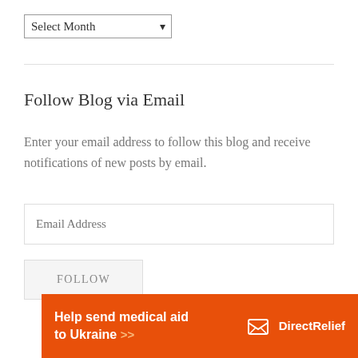Select Month
Follow Blog via Email
Enter your email address to follow this blog and receive notifications of new posts by email.
Email Address
FOLLOW
[Figure (infographic): Orange banner advertisement: 'Help send medical aid to Ukraine >>' with DirectRelief logo on right]